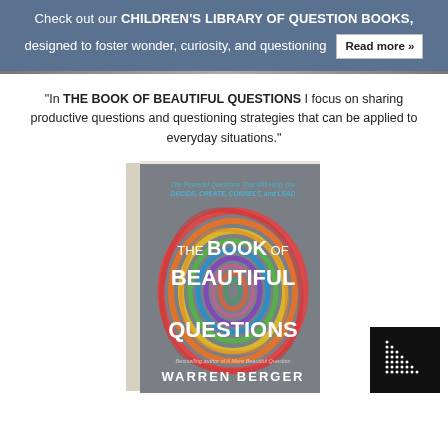Check out our CHILDREN'S LIBRARY OF QUESTION BOOKS, designed to foster wonder, curiosity, and questioning  Read more »
"In THE BOOK OF BEAUTIFUL QUESTIONS I focus on sharing productive questions and questioning strategies that can be applied to everyday situations."
[Figure (photo): Book cover of 'The Book of Beautiful Questions' by Warren Berger. Gray cover with colorful swirling spiral design. Subtitle: The Powerful Questions That Will Help You Decide, Create, Connect, and Lead. Bestselling author of A More Beautiful Question.]
[Figure (logo): Publisher logo: black square with white dot-matrix/halftone pattern]